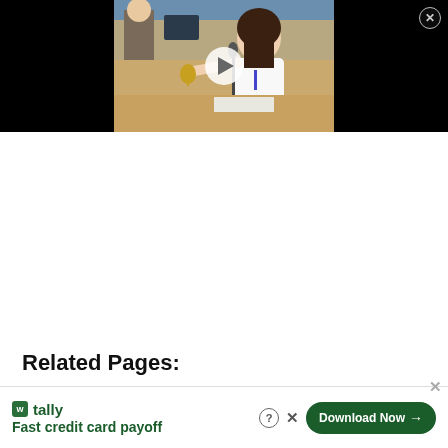[Figure (screenshot): Video thumbnail showing a woman in a white shirt at a conference table ringing a bell, with a play button overlay. Black background flanks the video frame. A close (X) button is in the top-right corner.]
Related Pages:
No related pages text (partially visible)
[Figure (screenshot): Advertisement banner for Tally app: green Tally logo, tagline 'Fast credit card payoff', Download Now button with arrow, question mark icon, and X close button. A dismiss X appears top right.]